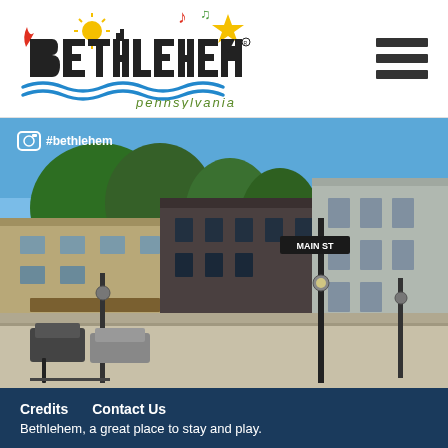[Figure (logo): Bethlehem Pennsylvania city logo with colorful icons including flame, sun, musical notes, water waves, and star]
[Figure (photo): Street-level photo of Bethlehem PA downtown Main Street intersection with trees, historic buildings, street sign, and light poles. Instagram badge with #bethlehem overlay.]
Credits    Contact Us
Bethlehem, a great place to stay and play.